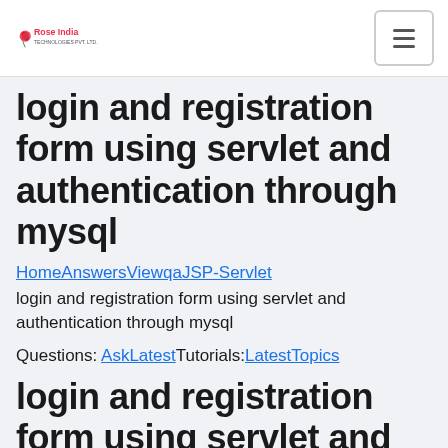Rose India | hamburger menu
login and registration form using servlet and authentication through mysql
HomeAnswersViewqaJSP-Servlet
login and registration form using servlet and authentication through mysql
Questions: AskLatestTutorials:LatestTopics
login and registration form using servlet and authentication through